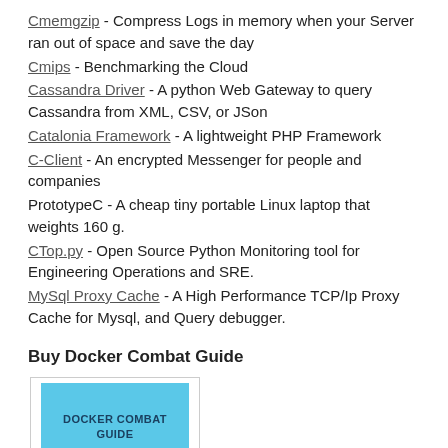Cmemgzip - Compress Logs in memory when your Server ran out of space and save the day
Cmips - Benchmarking the Cloud
Cassandra Driver - A python Web Gateway to query Cassandra from XML, CSV, or JSon
Catalonia Framework - A lightweight PHP Framework
C-Client - An encrypted Messenger for people and companies
PrototypeC - A cheap tiny portable Linux laptop that weights 160 g.
CTop.py - Open Source Python Monitoring tool for Engineering Operations and SRE.
MySql Proxy Cache - A High Performance TCP/Ip Proxy Cache for Mysql, and Query debugger.
Buy Docker Combat Guide
[Figure (illustration): Book cover image for Docker Combat Guide - The Docker Guide for Software Developers, shown with light blue background in a bordered box]